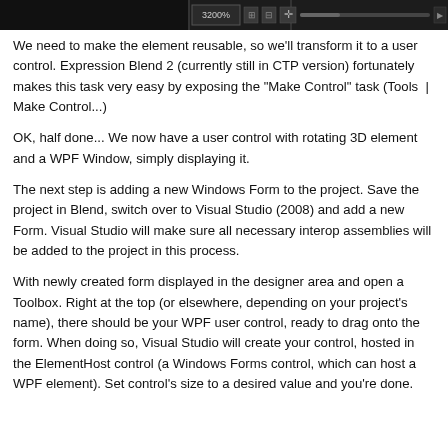[Figure (screenshot): Dark toolbar/UI bar from Expression Blend application showing zoom controls and other UI elements at 3200% zoom]
We need to make the element reusable, so we'll transform it to a user control. Expression Blend 2 (currently still in CTP version) fortunately makes this task very easy by exposing the "Make Control" task (Tools | Make Control...)
OK, half done... We now have a user control with rotating 3D element and a WPF Window, simply displaying it.
The next step is adding a new Windows Form to the project. Save the project in Blend, switch over to Visual Studio (2008) and add a new Form. Visual Studio will make sure all necessary interop assemblies will be added to the project in this process.
With newly created form displayed in the designer area and open a Toolbox. Right at the top (or elsewhere, depending on your project's name), there should be your WPF user control, ready to drag onto the form. When doing so, Visual Studio will create your control, hosted in the ElementHost control (a Windows Forms control, which can host a WPF element). Set control's size to a desired value and you're done.